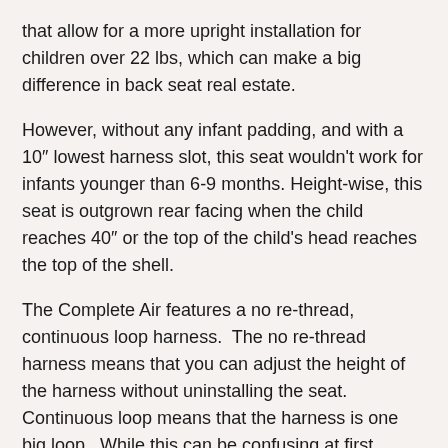that allow for a more upright installation for children over 22 lbs, which can make a big difference in back seat real estate.
However, without any infant padding, and with a 10″ lowest harness slot, this seat wouldn't work for infants younger than 6-9 months. Height-wise, this seat is outgrown rear facing when the child reaches 40″ or the top of the child's head reaches the top of the shell.
The Complete Air features a no re-thread, continuous loop harness. The no re-thread harness means that you can adjust the height of the harness without uninstalling the seat. Continuous loop means that the harness is one big loop. While this can be confusing at first (check out our article about these harnesses), this feature can make it easier to load a kiddo who likes to struggle their way into the car seat so this can be an advantage.